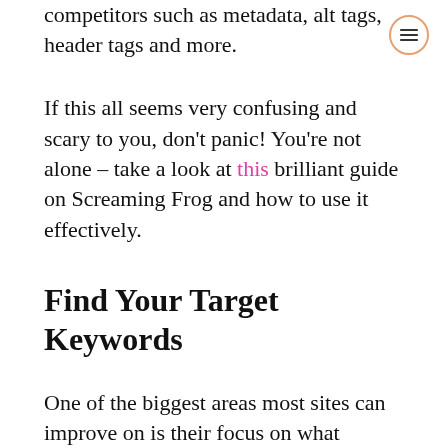competitors such as metadata, alt tags, header tags and more.
If this all seems very confusing and scary to you, don't panic! You're not alone – take a look at this brilliant guide on Screaming Frog and how to use it effectively.
Find Your Target Keywords
One of the biggest areas most sites can improve on is their focus on what keywords they want to rank for. When potential customers search for products or services on Google, which of these